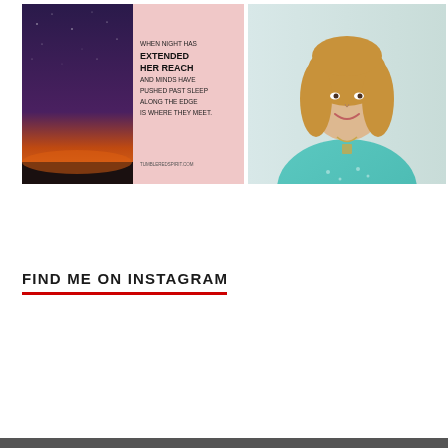[Figure (photo): Left: A two-panel Instagram post image. Left panel shows a night-sky/sunset photo with a horizon glowing orange against a dark purple/blue star-filled sky. Right panel is pink with bold black text reading: 'WHEN NIGHT HAS EXTENDED HER REACH AND MINDS HAVE PUSHED PAST SLEEP ALONG THE EDGE IS WHERE THEY MEET.' with website 'TUMBLEREDSPIRIT.COM' at the bottom.]
[Figure (photo): Portrait photo of a smiling woman with long blonde wavy hair, wearing a teal/turquoise floral patterned top and a square pendant necklace, photographed against a light background.]
FIND ME ON INSTAGRAM